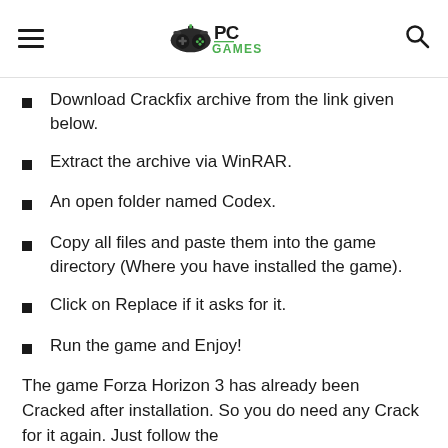PC Games
Download Crackfix archive from the link given below.
Extract the archive via WinRAR.
An open folder named Codex.
Copy all files and paste them into the game directory (Where you have installed the game).
Click on Replace if it asks for it.
Run the game and Enjoy!
The game Forza Horizon 3 has already been Cracked after installation. So you do need any Crack for it again. Just follow the